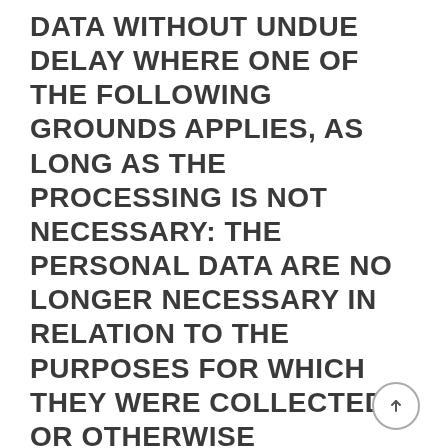DATA WITHOUT UNDUE DELAY WHERE ONE OF THE FOLLOWING GROUNDS APPLIES, AS LONG AS THE PROCESSING IS NOT NECESSARY: THE PERSONAL DATA ARE NO LONGER NECESSARY IN RELATION TO THE PURPOSES FOR WHICH THEY WERE COLLECTED OR OTHERWISE PROCESSED. THE DATA SUBJECT WITHDRAWS CONSENT TO WHICH THE PROCESSING IS BASED ACCORDING TO POINT (A) OF ARTICLE 6(1) OF THE GDPR, OR POINT (A) OF ARTICLE 9(2) OF THE